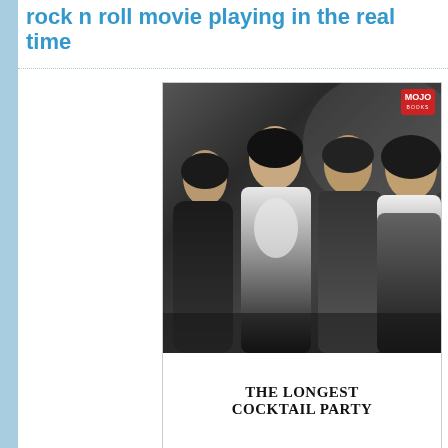rock n roll movie playing in the real time
[Figure (photo): Book cover of 'The Longest Cocktail Party' published by MOJO Books, featuring a black and white photograph of four people (appearing to be The Beatles) with a MOJO Books badge in the upper right corner. The title 'THE LONGEST COCKTAIL PARTY' appears in bold serif text at the bottom of the cover.]